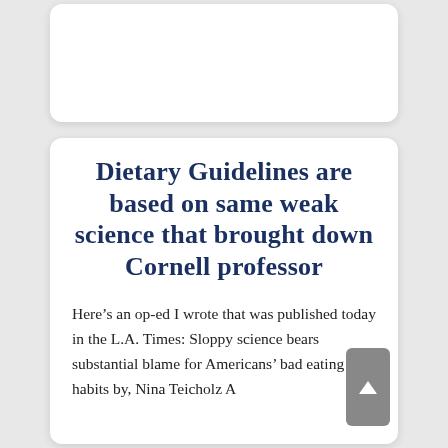Dietary Guidelines are based on same weak science that brought down Cornell professor
Here’s an op-ed I wrote that was published today in the L.A. Times: Sloppy science bears substantial blame for Americans’ bad eating habits by, Nina Teicholz A